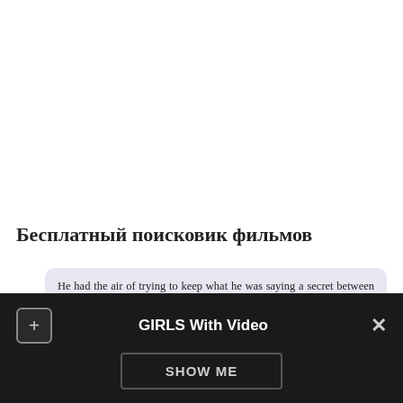[Figure (other): Blank white area at top of page, appears to be empty content/ad space]
Бесплатный поисковик фильмов
He had the air of trying to keep what he was saying a secret between himself and the telescreen. Years ago — how long was it? Quite likely her real object had been to listen to him and make sure whether he was shouting loudly enough. Now look. A hair laid across the page-ends was too obvious. By sitting in the alcove, and keeping well back, Winston was able to remain
[Figure (screenshot): Dark notification/popup bar at bottom of page with plus button on left, 'GIRLS With Video' title in center, X close button on right, and a 'SHOW ME' button below]
GIRLS With Video
SHOW ME